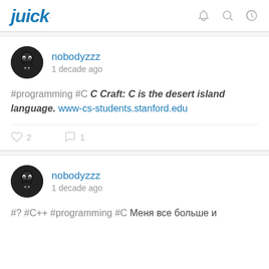juick
nobodyzzz
1 decade ago
#programming #C C Craft: C is the desert island language. www-cs-students.stanford.edu
♡ 2   ○ 1
nobodyzzz
1 decade ago
#? #C++ #programming #C Меня все больше и